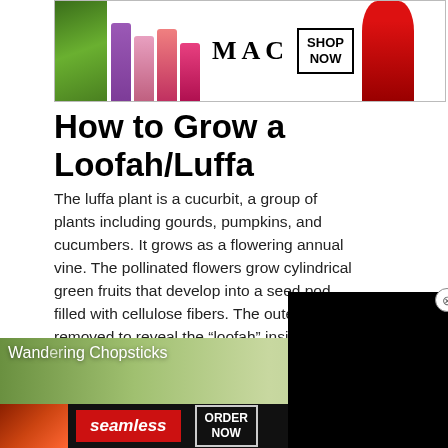[Figure (screenshot): MAC cosmetics advertisement banner showing lipsticks in purple, pink, hot pink colors, MAC logo text, a 'SHOP NOW' box, and a red lipstick on right side]
How to Grow a Loofah/Luffa
The luffa plant is a cucurbit, a group of plants including gourds, pumpkins, and cucumbers. It grows as a flowering annual vine. The pollinated flowers grow cylindrical green fruits that develop into a seed pod filled with cellulose fibers. The outer skin is removed to reveal the “loofah” inside.
Source: wanderingchopstick…
[Figure (screenshot): Black video overlay panel covering right portion of page]
[Figure (screenshot): Bottom section showing Wandering Chopsticks blog image with green foliage, CLOSE button, and Seamless food delivery advertisement]